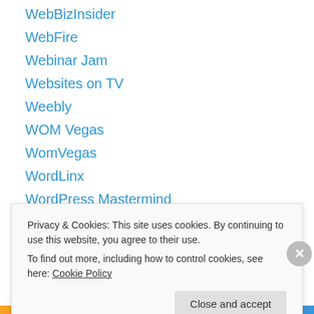WebBizInsider
WebFire
Webinar Jam
Websites on TV
Weebly
WOM Vegas
WomVegas
WordLinx
WordPress Mastermind
Work From No Home
World Prelaunch
World profit
WP Banner Buster
WP E7S (partial)
Privacy & Cookies: This site uses cookies. By continuing to use this website, you agree to their use. To find out more, including how to control cookies, see here: Cookie Policy
Close and accept